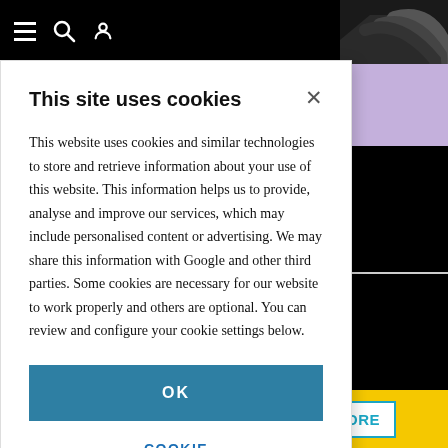Navigation bar with hamburger menu, search icon, user icon, and site logo
[Figure (screenshot): Partially visible advertisement banner with text 'uad LCM' and 'gle analysis' and 'porting' on purple background]
This site uses cookies
This website uses cookies and similar technologies to store and retrieve information about your use of this website. This information helps us to provide, analyse and improve our services, which may include personalised content or advertising. We may share this information with Google and other third parties. Some cookies are necessary for our website to work properly and others are optional. You can review and configure your cookie settings below.
OK
COOKIE SETTINGS